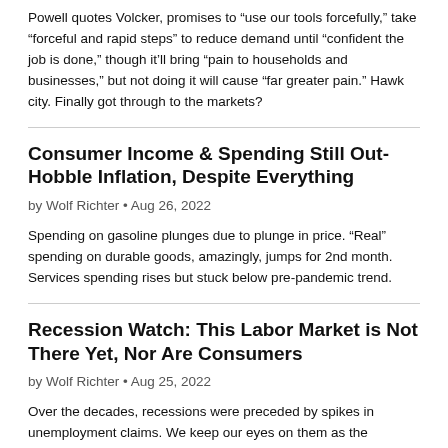Powell quotes Volcker, promises to “use our tools forcefully,” take “forceful and rapid steps” to reduce demand until “confident the job is done,” though it’ll bring “pain to households and businesses,” but not doing it will cause “far greater pain.” Hawk city. Finally got through to the markets?
Consumer Income & Spending Still Out-Hobble Inflation, Despite Everything
by Wolf Richter • Aug 26, 2022
Spending on gasoline plunges due to plunge in price. “Real” spending on durable goods, amazingly, jumps for 2nd month. Services spending rises but stuck below pre-pandemic trend.
Recession Watch: This Labor Market is Not There Yet, Nor Are Consumers
by Wolf Richter • Aug 25, 2022
Over the decades, recessions were preceded by spikes in unemployment claims. We keep our eyes on them as the recession watch has begun.